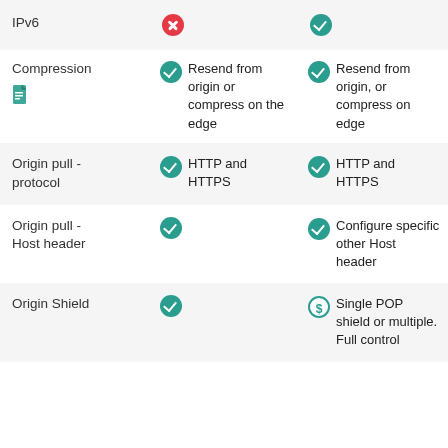|  | Column 1 | Column 2 |
| --- | --- | --- |
| IPv6 | ❌ | ✅ |
| Compression 📄 | ✅ Resend from origin or compress on the edge | ✅ Resend from origin, or compress on edge |
| Origin pull - protocol | ✅ HTTP and HTTPS | ✅ HTTP and HTTPS |
| Origin pull - Host header | ✅ | ✅ Configure specific other Host header |
| Origin Shield | ✅ | 💲 Single POP shield or multiple. Full control |